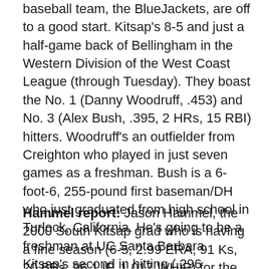baseball team, the BlueJackets, are off to a good start. Kitsap's 8-5 and just a half-game back of Bellingham in the Western Division of the West Coast League (through Tuesday). They boast the No. 1 (Danny Woodruff, .453) and No. 3 (Alex Bush, .395, 2 HRs, 15 RBI) hitters. Woodruff's an outfielder from Creighton who played in just seven games as a freshman. Bush is a 6-foot-6, 255-pound first baseman/DH who just graduated from high school in Turlock, California. He's going to be a freshman at UC Santa Barbara. Kitsap's second in hitting (.296 average) and eighth in pitching (5.46 ERA) in the 12-team wood-bat league.
Hammel report: Jason Hammel, the 2000 South Kitsap grad who is having a fine season (6-5, 2.99 ERA, 91 Ks, 20 BBs, 96.1 IP, 1.017 WHIP) for the Chicago Cubs, continues to be linked to the Mariners. This report says the Cubs and M's have had serious talks, and that Chicago wants RHP Edwin Diaz, Seattle's